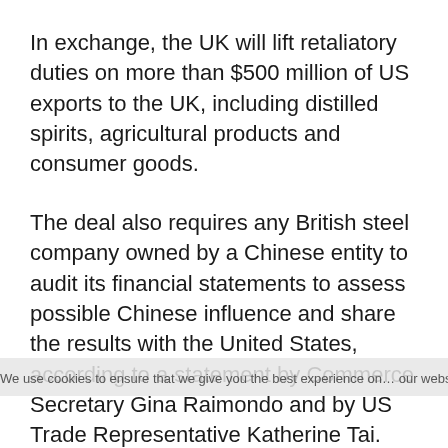In exchange, the UK will lift retaliatory duties on more than $500 million of US exports to the UK, including distilled spirits, agricultural products and consumer goods.
The deal also requires any British steel company owned by a Chinese entity to audit its financial statements to assess possible Chinese influence and share the results with the United States, according to a statement by Commerce Secretary Gina Raimondo and by US Trade Representative Katherine Tai.
Tuesday's deal follows similar agreements the Biden administration has signed with the European Union and Japan in recent months as part of its efforts to restore